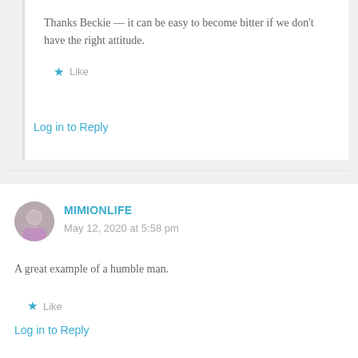Thanks Beckie — it can be easy to become bitter if we don't have the right attitude.
★ Like
Log in to Reply
MIMIONLIFE
May 12, 2020 at 5:58 pm
A great example of a humble man.
★ Like
Log in to Reply